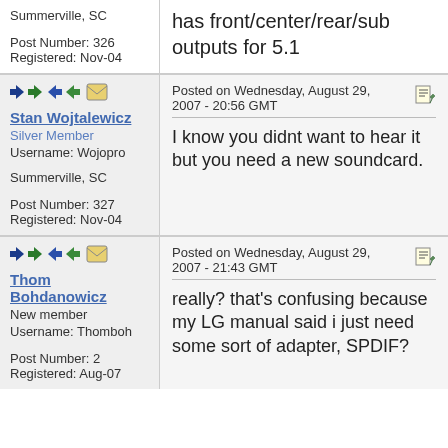Summerville, SC
Post Number: 326
Registered: Nov-04
has front/center/rear/sub outputs for 5.1
Stan Wojtalewicz
Silver Member
Username: Wojopro
Summerville, SC
Post Number: 327
Registered: Nov-04
Posted on Wednesday, August 29, 2007 - 20:56 GMT
I know you didnt want to hear it but you need a new soundcard.
Thom Bohdanowicz
New member
Username: Thomboh
Post Number: 2
Registered: Aug-07
Posted on Wednesday, August 29, 2007 - 21:43 GMT
really? that's confusing because my LG manual said i just need some sort of adapter, SPDIF?